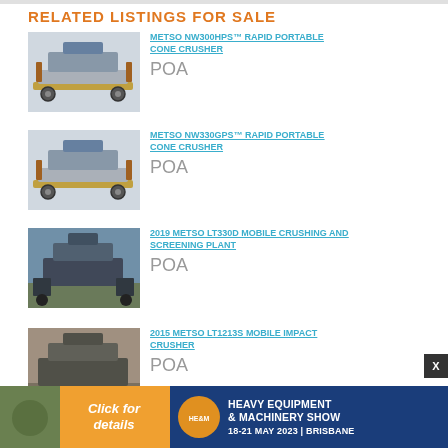RELATED LISTINGS FOR SALE
METSO NW300HPS™ RAPID PORTABLE CONE CRUSHER
POA
METSO NW330GPS™ RAPID PORTABLE CONE CRUSHER
POA
2019 METSO LT330D MOBILE CRUSHING AND SCREENING PLANT
POA
2015 METSO LT1213S MOBILE IMPACT CRUSHER
POA
[Figure (infographic): Heavy Equipment & Machinery Show banner — Click for details, 18-21 May 2023, Brisbane]